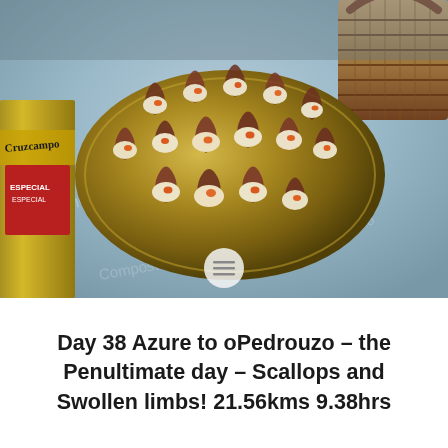[Figure (photo): A photograph of freshly cooked scallops served in their shells, arranged on a large oval gold/bronze platter on a patterned tablecloth. A wicker basket is visible in the top right corner and a beer bottle/can is visible on the left. A small hamburger menu icon overlay is visible at the bottom center of the image.]
Day 38 Azure to oPedrouzo – the Penultimate day – Scallops and Swollen limbs! 21.56kms 9.38hrs